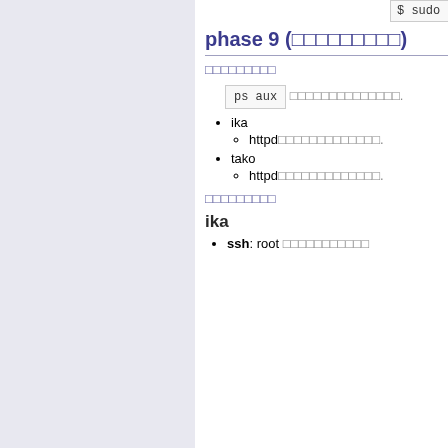[Figure (screenshot): Code snippet at top right: $ sudo chmod 755 ...]
phase 9 (日本語テキスト)
日本語テキスト
ps aux 日本語テキスト.
ika
httpd日本語テキスト.
tako
httpd日本語テキスト.
日本語テキスト
ika
ssh: root 日本語テキスト